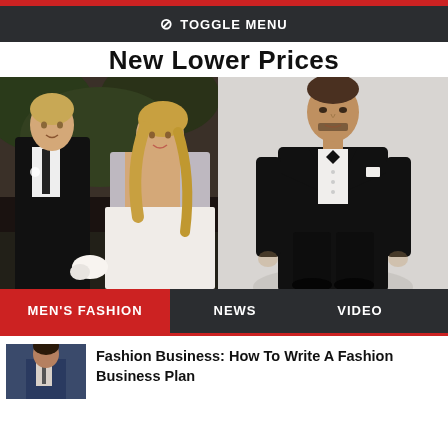⊘ TOGGLE MENU
New Lower Prices
[Figure (photo): A young man in a black suit and tie with a woman in a white lace gown at an outdoor wedding venue]
[Figure (photo): A man in a black tuxedo with bow tie standing against a light gray background in a full-length shot]
MEN'S FASHION  NEWS  VIDEO
Fashion Business: How To Write A Fashion Business Plan